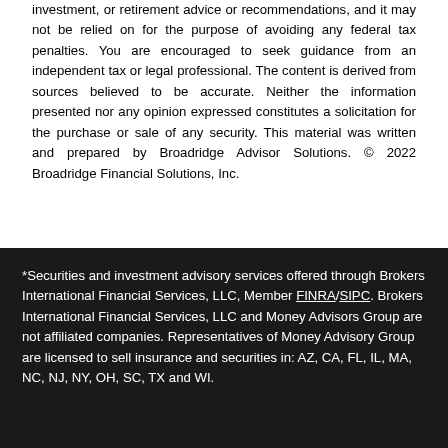The information in this newsletter is not intended as tax, legal, investment, or retirement advice or recommendations, and it may not be relied on for the purpose of avoiding any federal tax penalties. You are encouraged to seek guidance from an independent tax or legal professional. The content is derived from sources believed to be accurate. Neither the information presented nor any opinion expressed constitutes a solicitation for the purchase or sale of any security. This material was written and prepared by Broadridge Advisor Solutions. © 2022 Broadridge Financial Solutions, Inc.
*Securities and investment advisory services offered through Brokers International Financial Services, LLC, Member FINRA/SIPC. Brokers International Financial Services, LLC and Money Advisors Group are not affiliated companies. Representatives of Money Advisory Group are licensed to sell insurance and securities in: AZ, CA, FL, IL, MA, NC, NJ, NY, OH, SC, TX and WI.